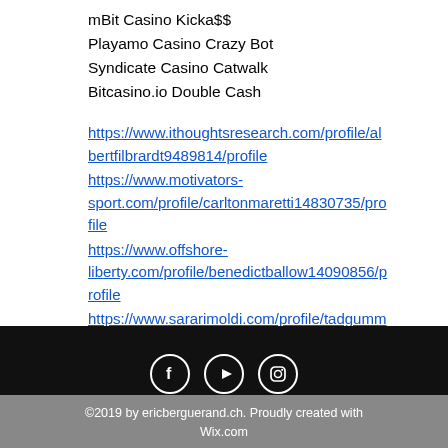mBit Casino Kicka$$
Playamo Casino Crazy Bot
Syndicate Casino Catwalk
Bitcasino.io Double Cash
https://www.ithoughtsresearch.com/profile/albertfilbrardt9489814/profile
https://www.motivators-sport.com/profile/carltonmaretti14830735/profile
https://www.offshore-liberty.com/profile/benedictballow14090856/profile
https://www.sararimoldi.com/profile/tadgummersheimer15515624/profile
©2019 by ericberguerand.ch. Proudly created with Wix.com